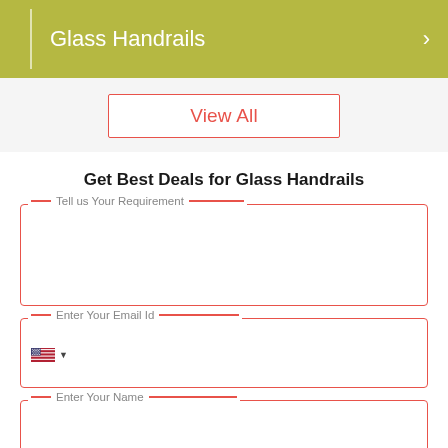[Figure (screenshot): Olive/yellow-green banner with white vertical divider line on left, text 'Glass Handrails' in white, and a right-pointing chevron arrow on the right end.]
View All
Get Best Deals for Glass Handrails
Tell us Your Requirement
Enter Your Email Id
Enter Your Name